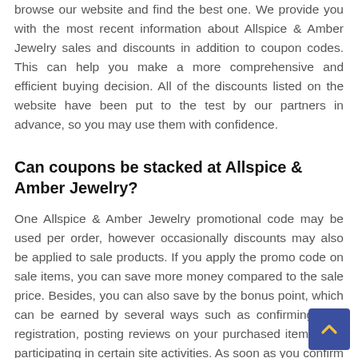browse our website and find the best one. We provide you with the most recent information about Allspice & Amber Jewelry sales and discounts in addition to coupon codes. This can help you make a more comprehensive and efficient buying decision. All of the discounts listed on the website have been put to the test by our partners in advance, so you may use them with confidence.
Can coupons be stacked at Allspice & Amber Jewelry?
One Allspice & Amber Jewelry promotional code may be used per order, however occasionally discounts may also be applied to sale products. If you apply the promo code on sale items, you can save more money compared to the sale price. Besides, you can also save by the bonus point, which can be earned by several ways such as confirming your registration, posting reviews on your purchased items, and participating in certain site activities. As soon as you confirm delivery of your order, the bonus points and